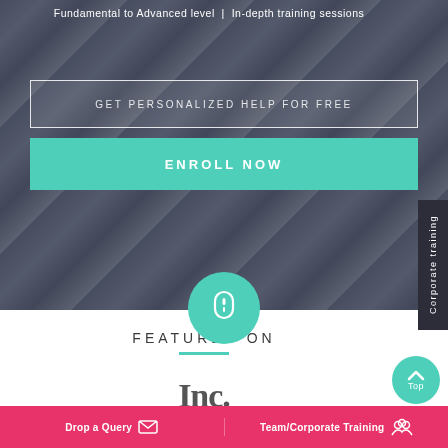Fundamental to Advanced level  |  In-depth training sessions
GET PERSONALIZED HELP FOR FREE
ENROLL NOW
Corporate training
[Figure (illustration): Teal circle with white mouse icon, scroll button]
FEATURED ON
[Figure (logo): Inc. magazine logo in dark gray bold serif font]
Top
Drop a Query  Team/Corporate Training